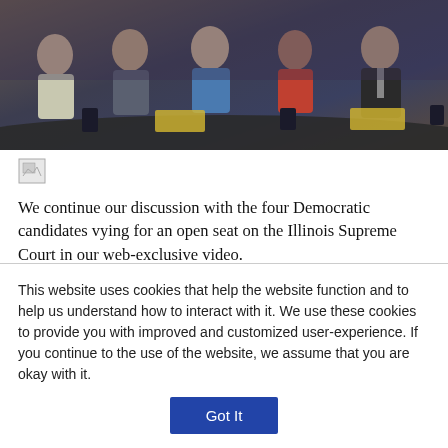[Figure (photo): Group photo of people sitting around a conference table, appearing to be a panel discussion or debate setting, likely for Illinois Supreme Court Democratic candidates.]
[Figure (other): Broken/missing image icon placeholder]
We continue our discussion with the four Democratic candidates vying for an open seat on the Illinois Supreme Court in our web-exclusive video.
Read More > >
This website uses cookies that help the website function and to help us understand how to interact with it. We use these cookies to provide you with improved and customized user-experience. If you continue to the use of the website, we assume that you are okay with it.